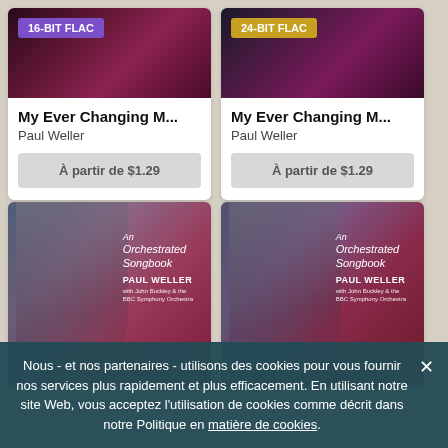[Figure (screenshot): Album card top-left with 16-BIT FLAC badge, dark purple album art]
My Ever Changing M...
Paul Weller
À partir de $1.29
[Figure (screenshot): Album card top-right with 24-BIT FLAC badge, dark album art]
My Ever Changing M...
Paul Weller
À partir de $1.29
[Figure (photo): An Orchestrated Songbook - Paul Weller album cover, left]
[Figure (photo): An Orchestrated Songbook - Paul Weller album cover, right]
Nous - et nos partenaires - utilisons des cookies pour vous fournir nos services plus rapidement et plus efficacement. En utilisant notre site Web, vous acceptez l'utilisation de cookies comme décrit dans notre Politique en matière de cookies.